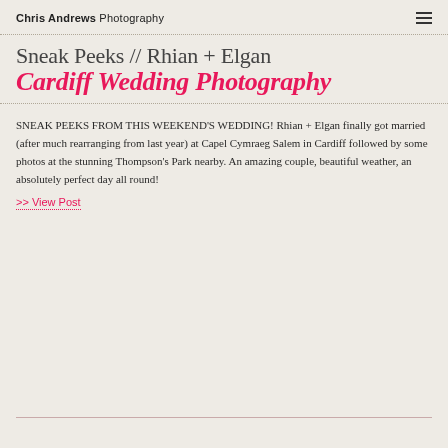Chris Andrews Photography
Sneak Peeks // Rhian + Elgan Cardiff Wedding Photography
SNEAK PEEKS FROM THIS WEEKEND'S WEDDING! Rhian + Elgan finally got married (after much rearranging from last year) at Capel Cymraeg Salem in Cardiff followed by some photos at the stunning Thompson's Park nearby. An amazing couple, beautiful weather, an absolutely perfect day all round!
>> View Post